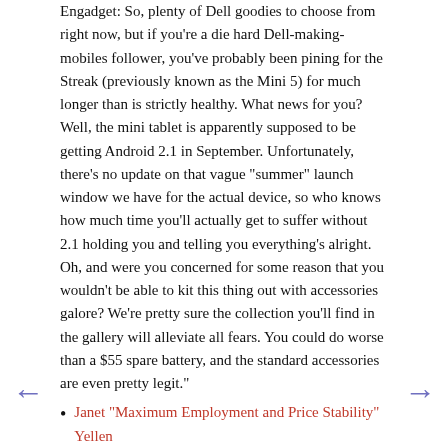Engadget: So, plenty of Dell goodies to choose from right now, but if you're a die hard Dell-making-mobiles follower, you've probably been pining for the Streak (previously known as the Mini 5) for much longer than is strictly healthy. What news for you? Well, the mini tablet is apparently supposed to be getting Android 2.1 in September. Unfortunately, there's no update on that vague "summer" launch window we have for the actual device, so who knows how much time you'll actually get to suffer without 2.1 holding you and telling you everything's alright. Oh, and were you concerned for some reason that you wouldn't be able to kit this thing out with accessories galore? We're pretty sure the collection you'll find in the gallery will alleviate all fears. You could do worse than a $55 spare battery, and the standard accessories are even pretty legit."
Janet "Maximum Employment and Price Stability" Yellen
JY: "I'm honored that President Obama has asked me to serve in that capacity. If confirmed by the Senate, I am looking forward to working even more closely with Chairman Bernanke and the other governors, and continuing to collaborate with my colleagues throughout the Federal Reserve System to conduct policies that foster economic prosperity and ensure a stable financial system. I am strongly committed to pursuing the dual goals that Congress has assigned us: maximum employment and price stability and, if confirmed, I will work to ensure that policy promotes job creation